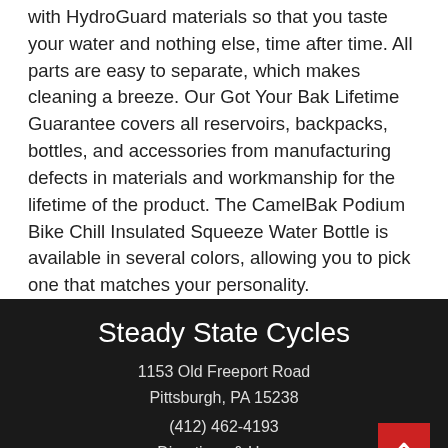with HydroGuard materials so that you taste your water and nothing else, time after time. All parts are easy to separate, which makes cleaning a breeze. Our Got Your Bak Lifetime Guarantee covers all reservoirs, backpacks, bottles, and accessories from manufacturing defects in materials and workmanship for the lifetime of the product. The CamelBak Podium Bike Chill Insulated Squeeze Water Bottle is available in several colors, allowing you to pick one that matches your personality.
Steady State Cycles
1153 Old Freeport Road
Pittsburgh, PA 15238
(412) 462-4193
Directions & Hours